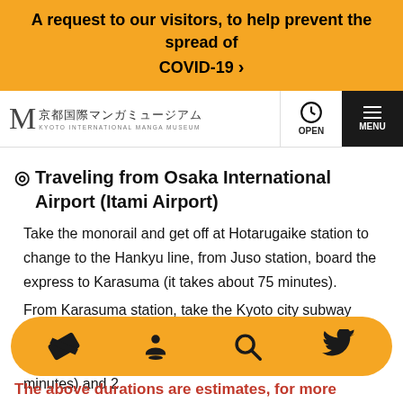A request to our visitors, to help prevent the spread of COVID-19 ›
[Figure (logo): Kyoto International Manga Museum logo with stylized M and Japanese/English text]
◎ Traveling from Osaka International Airport (Itami Airport)
Take the monorail and get off at Hotarugaike station to change to the Hankyu line, from Juso station, board the express to Karasuma (it takes about 75 minutes).
From Karasuma station, take the Kyoto city subway (Karasuma line) in the direction of Kokusai Kaikan; get off at the third stop, Karasuma Oike (it takes about 2 minutes) and 2
The above durations are estimates, for more